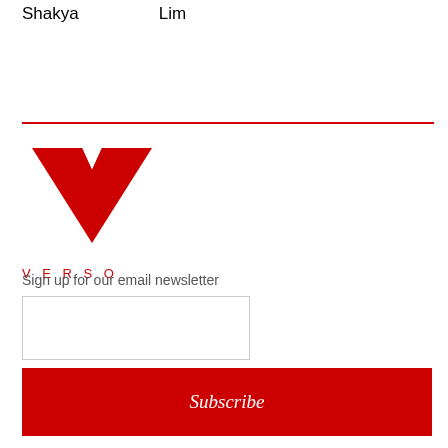Shakya    Lim
[Figure (logo): Verso Books logo: large red V chevron shape above the word VERSO in red spaced capitals]
Sign up for our email newsletter
Subscribe